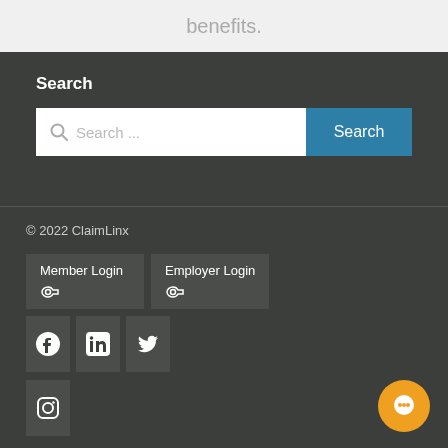benefits.
Search
[Figure (screenshot): Search input box with placeholder text 'Search ...' and a blue Search button]
© 2022 ClaimLinx
Member Login
Employer Login
[Figure (other): Social media icons: Facebook, LinkedIn, Twitter, Instagram]
[Figure (other): Orange chat button in bottom right corner]